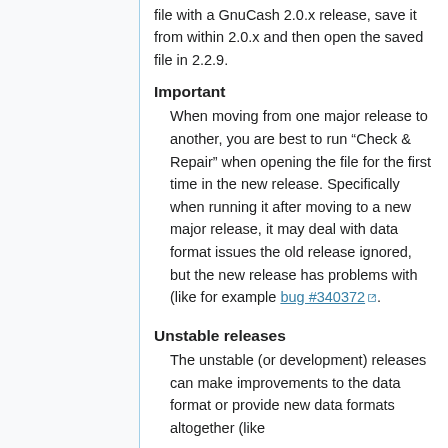file with a GnuCash 2.0.x release, save it from within 2.0.x and then open the saved file in 2.2.9.
Important
When moving from one major release to another, you are best to run "Check & Repair" when opening the file for the first time in the new release. Specifically when running it after moving to a new major release, it may deal with data format issues the old release ignored, but the new release has problems with (like for example bug #340372 ⧉).
Unstable releases
The unstable (or development) releases can make improvements to the data format or provide new data formats altogether (like